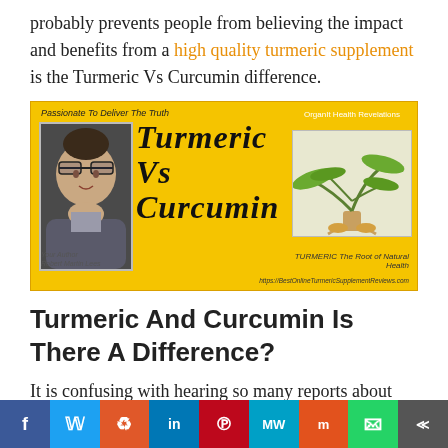probably prevents people from believing the impact and benefits from a high quality turmeric supplement is the Turmeric Vs Curcumin difference.
[Figure (illustration): Yellow promotional banner for 'Turmeric Vs Curcumin' featuring a photo of author Robert Martin Lees on left, large italic bold text 'Turmeric Vs Curcumin' in center, an image of a turmeric plant on right, and OrganIt Health Revelations branding. Footer text: TURMERIC The Root of Natural Health and https://BestOnlineTurmericSupplementReviews.com]
Turmeric And Curcumin Is There A Difference?
It is confusing with hearing so many reports about